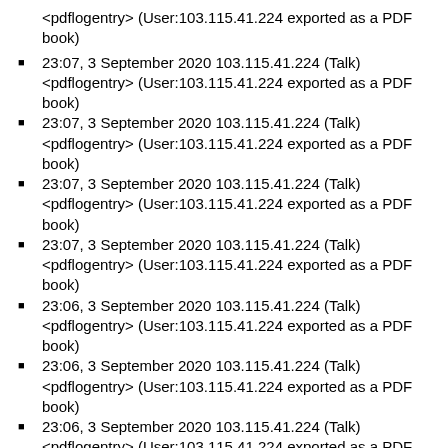<pdflogentry> (User:103.115.41.224 exported as a PDF book)
23:07, 3 September 2020 103.115.41.224 (Talk) <pdflogentry> (User:103.115.41.224 exported as a PDF book)
23:07, 3 September 2020 103.115.41.224 (Talk) <pdflogentry> (User:103.115.41.224 exported as a PDF book)
23:07, 3 September 2020 103.115.41.224 (Talk) <pdflogentry> (User:103.115.41.224 exported as a PDF book)
23:07, 3 September 2020 103.115.41.224 (Talk) <pdflogentry> (User:103.115.41.224 exported as a PDF book)
23:06, 3 September 2020 103.115.41.224 (Talk) <pdflogentry> (User:103.115.41.224 exported as a PDF book)
23:06, 3 September 2020 103.115.41.224 (Talk) <pdflogentry> (User:103.115.41.224 exported as a PDF book)
23:06, 3 September 2020 103.115.41.224 (Talk) <pdflogentry> (User:103.115.41.224 exported as a PDF book)
23:06, 3 September 2020 103.115.41.224 (Talk) <pdflogentry> (User:103.115.41.224 exported as a